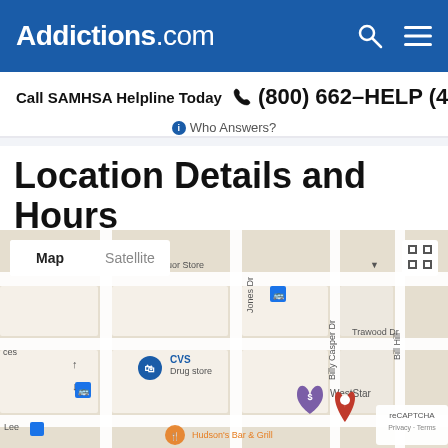Addictions.com
Call SAMHSA Helpline Today  (800) 662-HELP (4357)
Who Answers?
Location Details and Hours
[Figure (map): Google Map showing area near Trawood Dr with CVS Drug store, WestStar, Hudson's Bar & Grill markers, a red location pin, and transit stop icons. Map/Satellite toggle controls visible. Jones Dr and Billy Casper Dr street labels visible.]